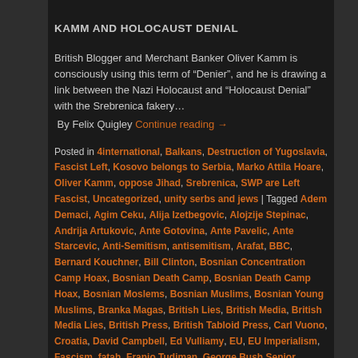KAMM AND HOLOCAUST DENIAL
British Blogger and Merchant Banker Oliver Kamm is consciously using this term of "Denier", and he is drawing a link between the Nazi Holocaust and "Holocaust Denial" with the Srebrenica fakery…
By Felix Quigley Continue reading →
Posted in 4international, Balkans, Destruction of Yugoslavia, Fascist Left, Kosovo belongs to Serbia, Marko Attila Hoare, Oliver Kamm, oppose Jihad, Srebrenica, SWP are Left Fascist, Uncategorized, unity serbs and jews | Tagged Adem Demaci, Agim Ceku, Alija Izetbegovic, Alojzije Stepinac, Andrija Artukovic, Ante Gotovina, Ante Pavelic, Ante Starcevic, Anti-Semitism, antisemitism, Arafat, BBC, Bernard Kouchner, Bill Clinton, Bosnian Concentration Camp Hoax, Bosnian Death Camp, Bosnian Death Camp Hoax, Bosnian Moslems, Bosnian Muslims, Bosnian Young Muslims, Branka Magas, British Lies, British Media, British Media Lies, British Press, British Tabloid Press, Carl Vuono, Croatia, David Campbell, Ed Vulliamy, EU, EU Imperialism, Fascism, fatah, Franjo Tudjman, George Bush Senior, George Herbert Walker